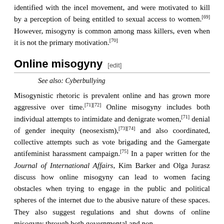identified with the incel movement, and were motivated to kill by a perception of being entitled to sexual access to women.[69] However, misogyny is common among mass killers, even when it is not the primary motivation.[70]
Online misogyny [edit]
See also: Cyberbullying
Misogynistic rhetoric is prevalent online and has grown more aggressive over time.[71][72] Online misogyny includes both individual attempts to intimidate and denigrate women,[71] denial of gender inequity (neosexism),[73][74] and also coordinated, collective attempts such as vote brigading and the Gamergate antifeminist harassment campaign.[75] In a paper written for the Journal of International Affairs, Kim Barker and Olga Jurasz discuss how online misogyny can lead to women facing obstacles when trying to engage in the public and political spheres of the internet due to the abusive nature of these spaces. They also suggest regulations and shut downs of online misogyny through both governmental and non-